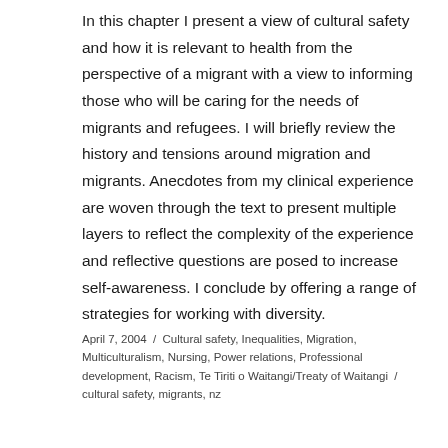In this chapter I present a view of cultural safety and how it is relevant to health from the perspective of a migrant with a view to informing those who will be caring for the needs of migrants and refugees. I will briefly review the history and tensions around migration and migrants. Anecdotes from my clinical experience are woven through the text to present multiple layers to reflect the complexity of the experience and reflective questions are posed to increase self-awareness. I conclude by offering a range of strategies for working with diversity.
April 7, 2004  /  Cultural safety, Inequalities, Migration, Multiculturalism, Nursing, Power relations, Professional development, Racism, Te Tiriti o Waitangi/Treaty of Waitangi  /  cultural safety, migrants, nz